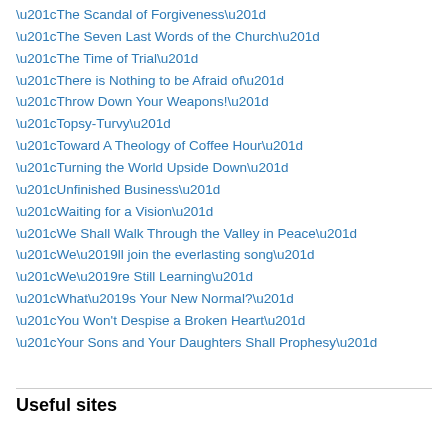“The Scandal of Forgiveness”
“The Seven Last Words of the Church”
“The Time of Trial”
“There is Nothing to be Afraid of”
“Throw Down Your Weapons!”
“Topsy-Turvy”
“Toward A Theology of Coffee Hour”
“Turning the World Upside Down”
“Unfinished Business”
“Waiting for a Vision”
“We Shall Walk Through the Valley in Peace”
“We’ll join the everlasting song”
“We’re Still Learning”
“What’s Your New Normal?”
“You Won't Despise a Broken Heart”
“Your Sons and Your Daughters Shall Prophesy”
Useful sites